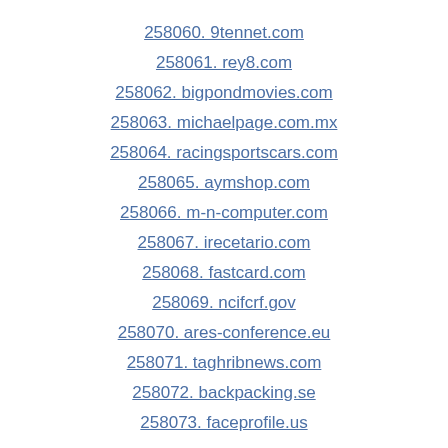258060. 9tennet.com
258061. rey8.com
258062. bigpondmovies.com
258063. michaelpage.com.mx
258064. racingsportscars.com
258065. aymshop.com
258066. m-n-computer.com
258067. irecetario.com
258068. fastcard.com
258069. ncifcrf.gov
258070. ares-conference.eu
258071. taghribnews.com
258072. backpacking.se
258073. faceprofile.us